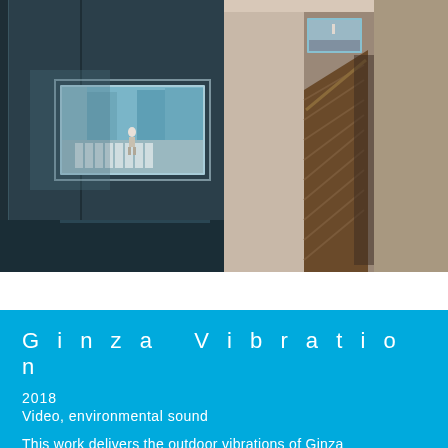[Figure (photo): Installation view: dark room with a wide-screen video monitor mounted high on a teal/dark wall, displaying a street crossing scene in Ginza with a pedestrian in the center]
[Figure (photo): Installation view: staircase corridor with white walls, a small video monitor mounted high near the ceiling showing a street scene, wooden stairs descending with warm amber lighting at the base]
Ginza Vibration
2018
Video, environmental sound
This work delivers the outdoor vibrations of Ginza